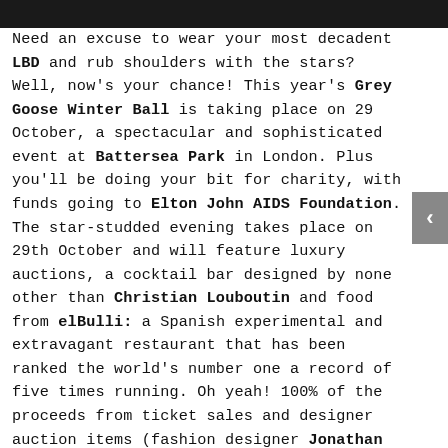Need an excuse to wear your most decadent LBD and rub shoulders with the stars? Well, now's your chance! This year's Grey Goose Winter Ball is taking place on 29 October, a spectacular and sophisticated event at Battersea Park in London. Plus you'll be doing your bit for charity, with funds going to Elton John AIDS Foundation. The star-studded evening takes place on 29th October and will feature luxury auctions, a cocktail bar designed by none other than Christian Louboutin and food from elBulli: a Spanish experimental and extravagant restaurant that has been ranked the world's number one a record of five times running. Oh yeah! 100% of the proceeds from ticket sales and designer auction items (fashion designer Jonathan Saunders and award winning artist Marc Quinn have donated!) will provide life changing